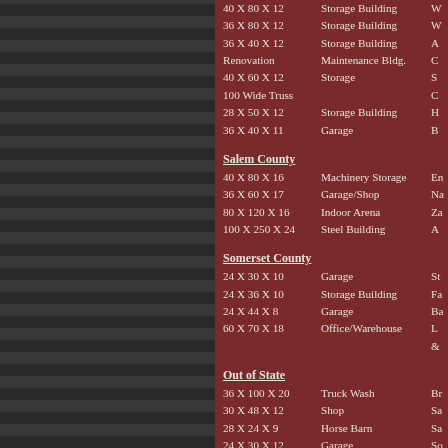| Size | Type | Owner |
| --- | --- | --- |
| 40 X 80 X 12 | Storage Building | W... |
| 36 X 80 X 12 | Storage Building | W... |
| 36 X 40 X 12 | Storage Building | A... |
| Renovation | Maintenance Bldg. | C... |
| 40 X 60 X 12 | Storage | S... |
| 100 Wide Truss |  | C... |
| 28 X 50 X 12 | Storage Building | H... |
| 36 X 40 X 11 | Garage | B... |
Salem County
| Size | Type | Owner |
| --- | --- | --- |
| 40 X 80 X 16 | Machinery Storage | En... |
| 36 X 60 X 17 | Garage/Shop | Na... |
| 80 X 120 X 16 | Indoor Arena | Za... |
| 100 X 250 X 24 | Steel Building | A... |
Somerset County
| Size | Type | Owner |
| --- | --- | --- |
| 24 X 30 X 10 | Garage | St... |
| 24 X 36 X 10 | Storage Building | Fa... |
| 24 X 44 X 8 | Garage | Ba... |
| 60 X 70 X 18 | Office/Warehouse | L &... |
Out of State
| Size | Type | Owner |
| --- | --- | --- |
| 36 X 100 X 20 | Truck Wash | Br... |
| 30 X 48 X 12 | Shop | Sa... |
| 28 X 24 X 9 | Horse Barn | Sa... |
| 24 X 30 X 12 | Garage | So... |
| 60 X 100 X 16 | Storage Bldg. | Ad... |
| 50 X 80 X 10 | Cart Storage Bldg. | Ri... |
| 36 X 50 X 9 | Horse Barn | De... |